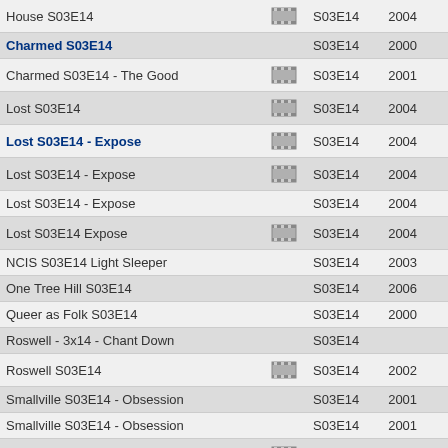| Title |  | Episode | Year |
| --- | --- | --- | --- |
| House S03E14 | icon | S03E14 | 2004 |
| Charmed S03E14 |  | S03E14 | 2000 |
| Charmed S03E14 - The Good | icon | S03E14 | 2001 |
| Lost S03E14 | icon | S03E14 | 2004 |
| Lost S03E14 - Expose | icon | S03E14 | 2004 |
| Lost S03E14 - Expose | icon | S03E14 | 2004 |
| Lost S03E14 - Expose |  | S03E14 | 2004 |
| Lost S03E14 Expose | icon | S03E14 | 2004 |
| NCIS S03E14 Light Sleeper |  | S03E14 | 2003 |
| One Tree Hill S03E14 |  | S03E14 | 2006 |
| Queer as Folk S03E14 |  | S03E14 | 2000 |
| Roswell - 3x14 - Chant Down |  | S03E14 |  |
| Roswell S03E14 | icon | S03E14 | 2002 |
| Smallville S03E14 - Obsession |  | S03E14 | 2001 |
| Smallville S03E14 - Obsession |  | S03E14 | 2001 |
| South of Nowhere S03E14 | icon | S03E14 | 2008 |
| South Park S03E14 - The Red |  | S03E14 | 1997 |
| Star Trek: Voyager S03E14 |  | S03E14 |  |
| Stargate Atlantis S03E14 | icon | S03E14 | 1997 |
| Stargate Atlantis S03E14 | icon | S03E14 | 1997 |